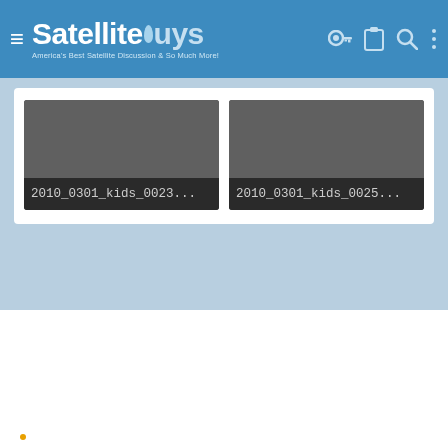SatelliteGuys — America's Best Satellite Discussion & So Much More!
[Figure (screenshot): Thumbnail card labeled 2010_0301_kids_0023...]
[Figure (screenshot): Thumbnail card labeled 2010_0301_kids_0025...]